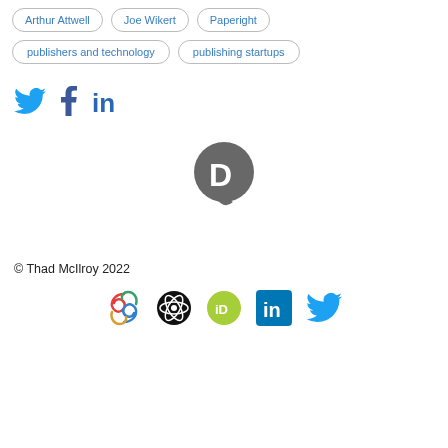Arthur Attwell
Joe Wikert
Paperight
publishers and technology
publishing startups
[Figure (infographic): Social share icons: Twitter bird (blue), Facebook f (dark blue), LinkedIn in (blue)]
[Figure (logo): Disqus logo: dark grey circle with white D and speech bubble tail]
© Thad McIlroy 2022
[Figure (infographic): Footer social/service icons: SciProfiles swirl (multicolor), atom/science icon (black circle), ORCID iD (green circle), LinkedIn (blue square), Twitter (blue bird)]